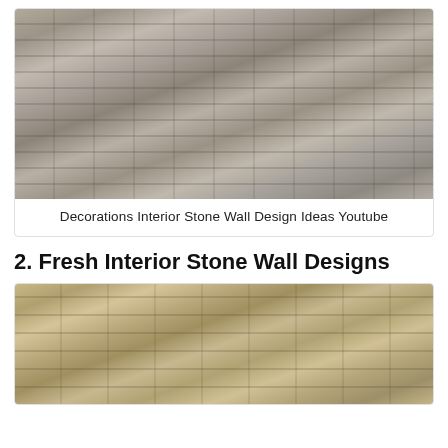[Figure (photo): Close-up photo of a stacked stone wall with light grey/beige tones, showing layered rectangular stone tiles arranged in horizontal rows]
Decorations Interior Stone Wall Design Ideas Youtube
2. Fresh Interior Stone Wall Designs
[Figure (photo): Photo of a stacked stone wall with tan/beige/brown tones, showing irregular flat stones arranged in horizontal bands]